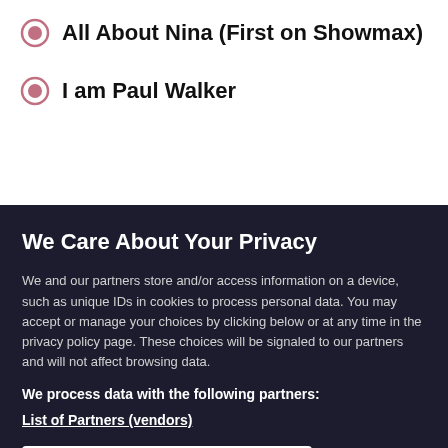All About Nina (First on Showmax)
I am Paul Walker
We Care About Your Privacy
We and our partners store and/or access information on a device, such as unique IDs in cookies to process personal data. You may accept or manage your choices by clicking below or at any time in the privacy policy page. These choices will be signaled to our partners and will not affect browsing data.
We process data with the following partners:
List of Partners (vendors)
I Accept
Manage Cookies